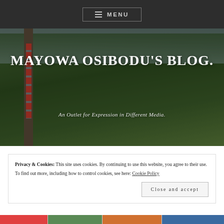MENU
[Figure (photo): Outdoor photo background with lush green vegetation, palm trees, grey sky, and a red-striped utility pole on the left.]
MAYOWA OSIBODU'S BLOG.
An Outlet for Expression in Different Media.
Privacy & Cookies: This site uses cookies. By continuing to use this website, you agree to their use.
To find out more, including how to control cookies, see here: Cookie Policy
Close and accept